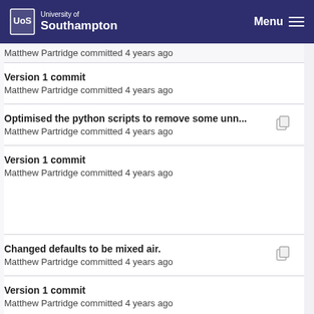University of Southampton | Menu
Matthew Partridge committed 4 years ago
Version 1 commit
Matthew Partridge committed 4 years ago
Optimised the python scripts to remove some unn...
Matthew Partridge committed 4 years ago
Version 1 commit
Matthew Partridge committed 4 years ago
Changed defaults to be mixed air.
Matthew Partridge committed 4 years ago
Version 1 commit
Matthew Partridge committed 4 years ago